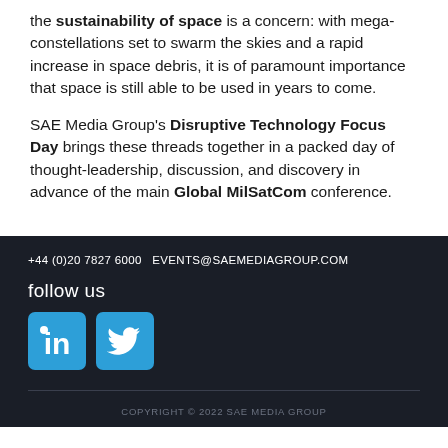the sustainability of space is a concern: with mega-constellations set to swarm the skies and a rapid increase in space debris, it is of paramount importance that space is still able to be used in years to come.
SAE Media Group's Disruptive Technology Focus Day brings these threads together in a packed day of thought-leadership, discussion, and discovery in advance of the main Global MilSatCom conference.
+44 (0)20 7827 6000  EVENTS@SAEMEDIAGROUP.COM
follow us
[Figure (logo): LinkedIn social media icon - blue rounded square with white 'in' logo]
[Figure (logo): Twitter social media icon - blue rounded square with white bird logo]
COPYRIGHT © 2022 SAE MEDIA GROUP